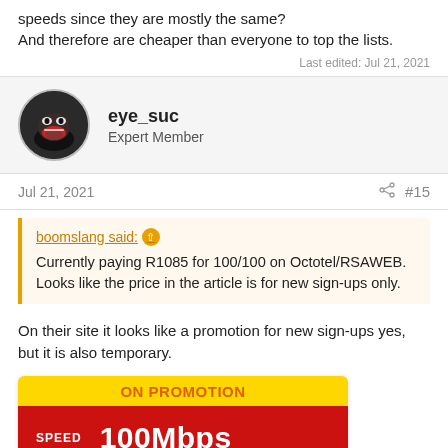speeds since they are mostly the same?
And therefore are cheaper than everyone to top the lists.
Last edited: Jul 21, 2021
eye_suc
Expert Member
Jul 21, 2021   #15
boomslang said: Currently paying R1085 for 100/100 on Octotel/RSAWEB. Looks like the price in the article is for new sign-ups only.
On their site it looks like a promotion for new sign-ups yes, but it is also temporary.
[Figure (screenshot): Promotional banner showing 'ON PROMOTION' in orange text on yellow background, and below it a red bar with 'SPEED' label and '100Mbps' in white bold text.]